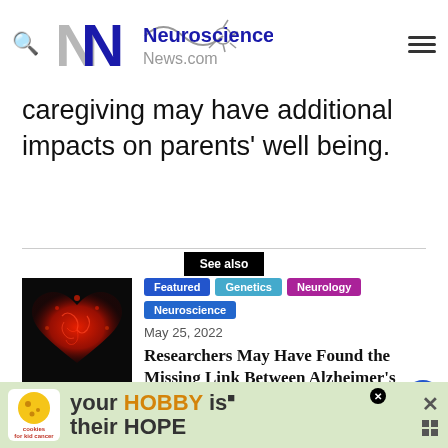Neuroscience News.com
caregiving may have additional impacts on parents' well being.
See also
[Figure (photo): Red glowing brain shaped as a heart on dark background]
Featured  Genetics  Neurology  Neuroscience
May 25, 2022
Researchers May Have Found the Missing Link Between Alzheimer's and Vascular Disease
“We know from other research that parents te...